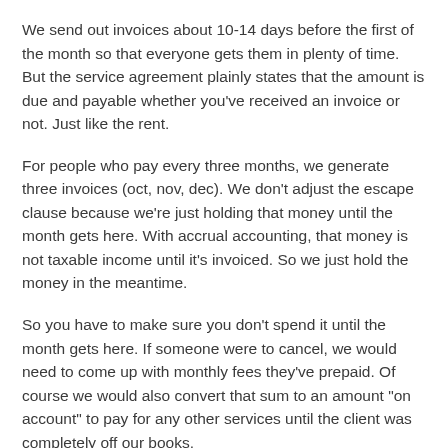We send out invoices about 10-14 days before the first of the month so that everyone gets them in plenty of time. But the service agreement plainly states that the amount is due and payable whether you've received an invoice or not. Just like the rent.
For people who pay every three months, we generate three invoices (oct, nov, dec). We don't adjust the escape clause because we're just holding that money until the month gets here. With accrual accounting, that money is not taxable income until it's invoiced. So we just hold the money in the meantime.
So you have to make sure you don't spend it until the month gets here. If someone were to cancel, we would need to come up with monthly fees they've prepaid. Of course we would also convert that sum to an amount "on account" to pay for any other services until the client was completely off our books.
Some clients will ask for a discount for pre-paying. We don't do this for the standard 3-month prepay because there's